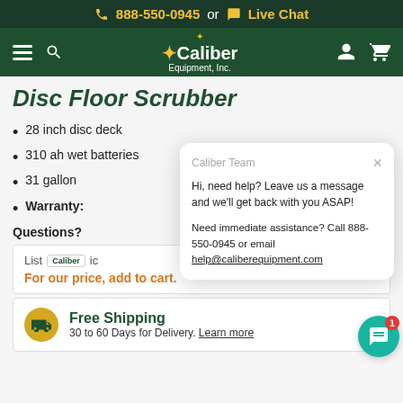📞 888-550-0945  or  💬 Live Chat
[Figure (screenshot): Caliber Equipment Inc. navigation bar with hamburger menu, search icon, logo, user icon, and cart icon]
Disc Floor Scrubber
28 inch disc deck
310 ah wet batteries
31 gallon
Warranty:
Questions?
List Price [Caliber logo] ic
For our price, add to cart.
[Figure (screenshot): Live chat popup from Caliber Team: Hi, need help? Leave us a message and we'll get back with you ASAP! Need immediate assistance? Call 888-550-0945 or email help@caliberequipment.com]
Free Shipping
30 to 60 Days for Delivery. Learn more